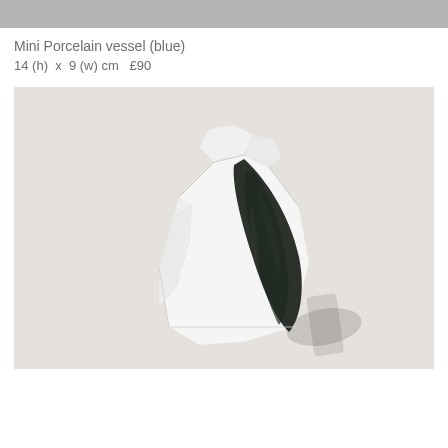[Figure (photo): Gray banner bar at the top of the page]
Mini Porcelain vessel (blue)
14 (h)  x  9 (w) cm   £90
[Figure (photo): Photo of a mini porcelain vessel (blue) — a white geometric faceted ceramic vase with a dark navy/black brushstroke glaze running diagonally across its front, photographed against a light beige background with soft shadow to the right.]